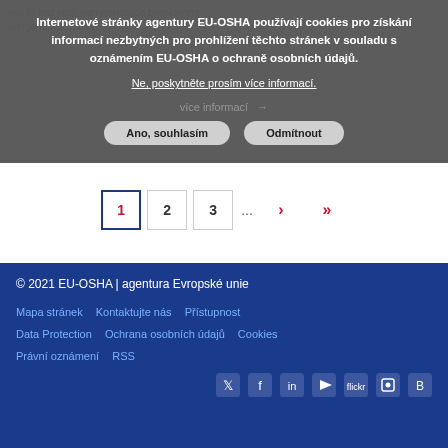Internetové stránky agentury EU-OSHA používají cookies pro získání informací nezbytných pro prohlížení těchto stránek v souladu s oznámením EU-OSHA o ochraně osobních údajů.
Ne, poskytněte prosím více informací.
Ano, souhlasím   Odmítnout
1  2  3  ...  >  >>
© 2021 EU-OSHA | agentura Evropské unie
Mapa stránek   Kontaktujte nás   Přístupnost
Data Protection   Ochrana osobních údajů   Cookies
Právní oznámení   RSS